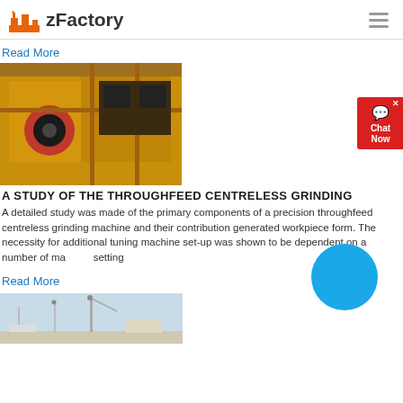zFactory
Read More
[Figure (photo): Yellow industrial crushing/grinding machine photographed outdoors]
A STUDY OF THE THROUGHFEED CENTRELESS GRINDING
A detailed study was made of the primary components of a precision throughfeed centreless grinding machine and their contribution generated workpiece form. The necessity for additional tuning machine set-up was shown to be dependent on a number of machine setting
Read More
[Figure (photo): Partial view of an industrial or port facility with cranes/structures against a light blue sky]